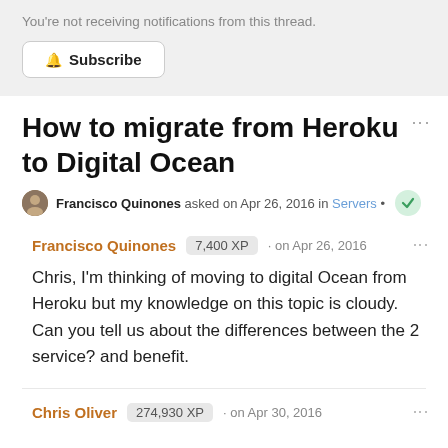You're not receiving notifications from this thread.
Subscribe
How to migrate from Heroku to Digital Ocean
Francisco Quinones asked on Apr 26, 2016 in Servers •
Francisco Quinones  7,400 XP  · on Apr 26, 2016
Chris, I'm thinking of moving to digital Ocean from Heroku but my knowledge on this topic is cloudy. Can you tell us about the differences between the 2 service? and benefit.
Chris Oliver  274,930 XP  · on Apr 30, 2016